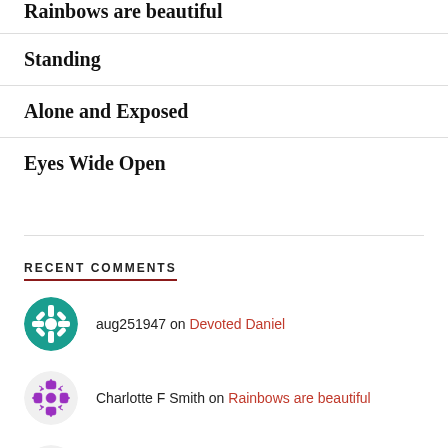Rainbows are beautiful
Standing
Alone and Exposed
Eyes Wide Open
RECENT COMMENTS
aug251947 on Devoted Daniel
Charlotte F Smith on Rainbows are beautiful
Marsha on Rainbows are beautiful